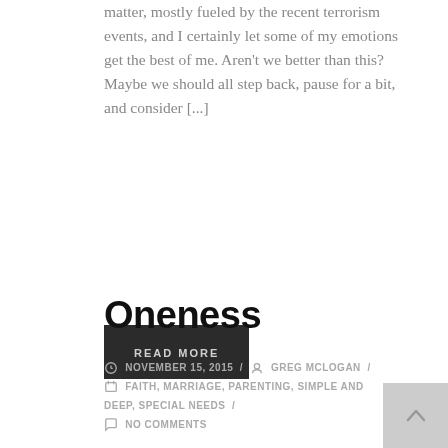matter, mostly fueled by the recent terrorism events, and I certainly let some of my emotions get the best of me. Aren't we better than this? Maybe we should all step back, pause for a bit, and consider [...]
READ MORE
Oneness
NOVEMBER 15, 2015 / GREG MCLOGAN / FAITH, MARRIAGE, PARENTING, SIMPLE AND DEEP, SPECIAL NEEDS / NO COMMENTS